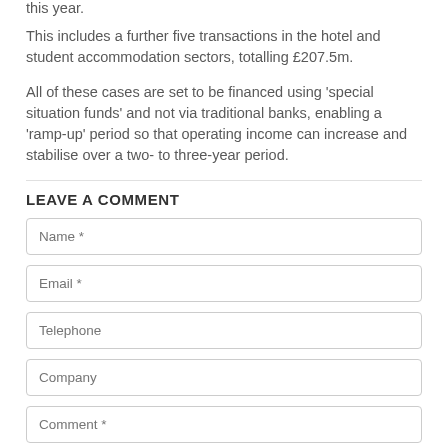this year.
This includes a further five transactions in the hotel and student accommodation sectors, totalling £207.5m.
All of these cases are set to be financed using 'special situation funds' and not via traditional banks, enabling a 'ramp-up' period so that operating income can increase and stabilise over a two- to three-year period.
LEAVE A COMMENT